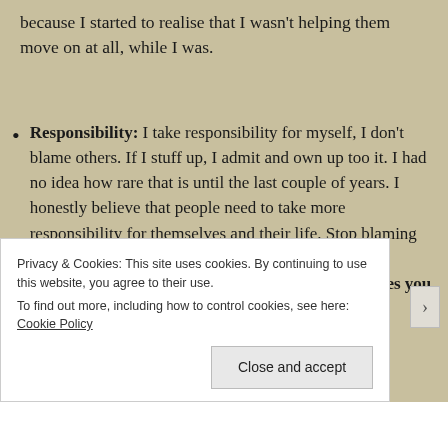because I started to realise that I wasn't helping them move on at all, while I was.
Responsibility: I take responsibility for myself, I don't blame others. If I stuff up, I admit and own up too it. I had no idea how rare that is until the last couple of years. I honestly believe that people need to take more responsibility for themselves and their life. Stop blaming others, we all have people and situations that seem impossible, but ultimately…it's your life…Sometimes you just
Privacy & Cookies: This site uses cookies. By continuing to use this website, you agree to their use.
To find out more, including how to control cookies, see here: Cookie Policy
Close and accept